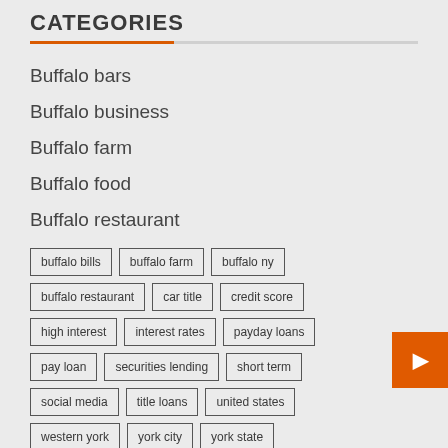CATEGORIES
Buffalo bars
Buffalo business
Buffalo farm
Buffalo food
Buffalo restaurant
buffalo bills, buffalo farm, buffalo ny, buffalo restaurant, car title, credit score, high interest, interest rates, payday loans, pay loan, securities lending, short term, social media, title loans, united states, western york, york city, york state